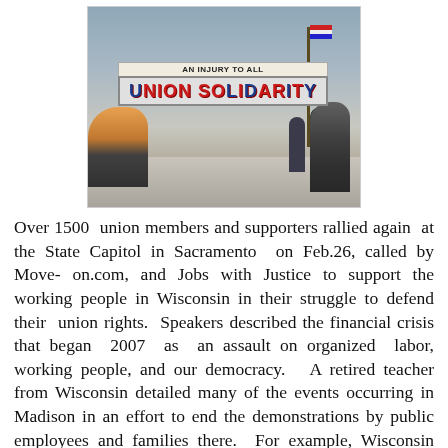[Figure (photo): Photo of a union solidarity rally at the State Capitol in Sacramento. People holding a large banner that reads 'AN INJURY TO ALL — UNION SOLIDARITY' on the steps of a government building.]
Over 1500 union members and supporters rallied again at the State Capitol in Sacramento on Feb.26, called by Move- on.com, and Jobs with Justice to support the working people in Wisconsin in their struggle to defend their union rights. Speakers described the financial crisis that began 2007 as an assault on organized labor, working people, and our democracy. A retired teacher from Wisconsin detailed many of the events occurring in Madison in an effort to end the demonstrations by public employees and families there. For example, Wisconsin teachers and public employees have agree to all of the demanded salary and benefit cuts, but insist that their union rights to negotiate be protected. This defense of